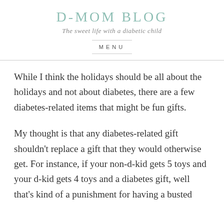D-MOM BLOG
The sweet life with a diabetic child
MENU
While I think the holidays should be all about the holidays and not about diabetes, there are a few diabetes-related items that might be fun gifts.
My thought is that any diabetes-related gift shouldn't replace a gift that they would otherwise get. For instance, if your non-d-kid gets 5 toys and your d-kid gets 4 toys and a diabetes gift, well that's kind of a punishment for having a busted